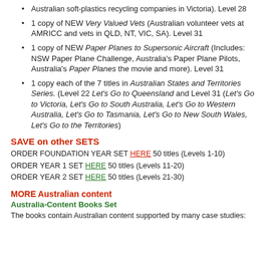Australian soft-plastics recycling companies in Victoria). Level 28
1 copy of NEW Very Valued Vets (Australian volunteer vets at AMRICC and vets in QLD, NT, VIC, SA). Level 31
1 copy of NEW Paper Planes to Supersonic Aircraft (Includes: NSW Paper Plane Challenge, Australia's Paper Plane Pilots, Australia's Paper Planes the movie and more). Level 31
1 copy each of the 7 titles in Australian States and Territories Series. (Level 22 Let's Go to Queensland and Level 31 (Let's Go to Victoria, Let's Go to South Australia, Let's Go to Western Australia, Let's Go to Tasmania, Let's Go to New South Wales, Let's Go to the Territories)
SAVE on other SETS
ORDER FOUNDATION YEAR SET HERE 50 titles (Levels 1-10)
ORDER YEAR 1 SET HERE 50 titles (Levels 11-20)
ORDER YEAR 2 SET HERE 50 titles (Levels 21-30)
MORE Australian content
Australia-Content Books Set
The books contain Australian content supported by many case studies: